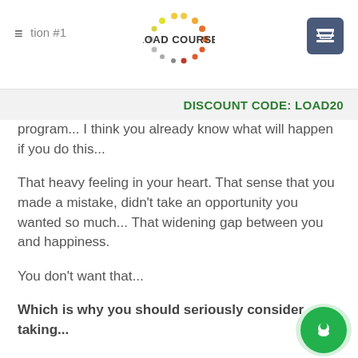≡ tion #1   LOAD COURSE   🛒
DISCOUNT CODE: LOAD20
program... I think you already know what will happen if you do this...
That heavy feeling in your heart. That sense that you made a mistake, didn't take an opportunity you wanted so much... That widening gap between you and happiness.
You don't want that...
Which is why you should seriously consider taking...
Option #2